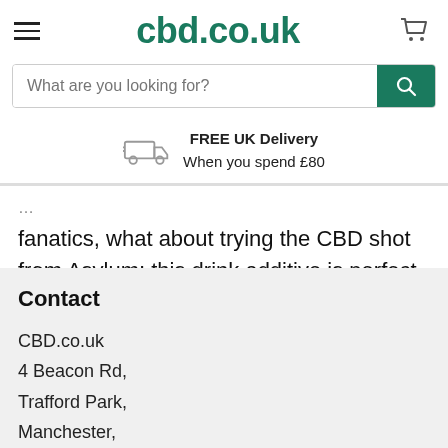cbd.co.uk
What are you looking for?
FREE UK Delivery
When you spend £80
fanatics, what about trying the CBD shot from Asylum; this drink additive is perfect for post-workout recovery.
Contact
CBD.co.uk
4 Beacon Rd,
Trafford Park,
Manchester,